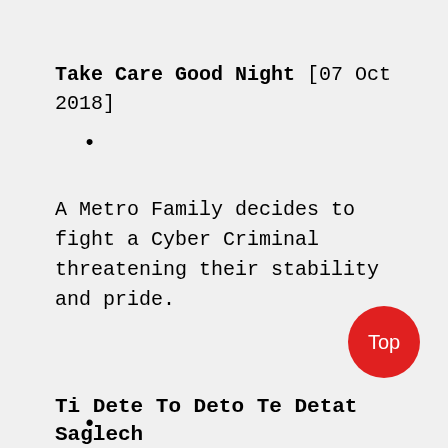Take Care Good Night [07 Oct 2018]
A Metro Family decides to fight a Cyber Criminal threatening their stability and pride.
Ti Dete To Deto Te Detat Saglech